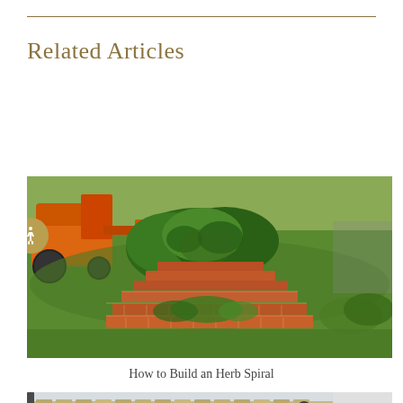Related Articles
[Figure (photo): A brick herb spiral garden with green herbs growing from it, an orange tractor visible in the background on a green field.]
How to Build an Herb Spiral
[Figure (photo): A man wearing a blue cap working near a wooden fence with green plants visible in the foreground.]